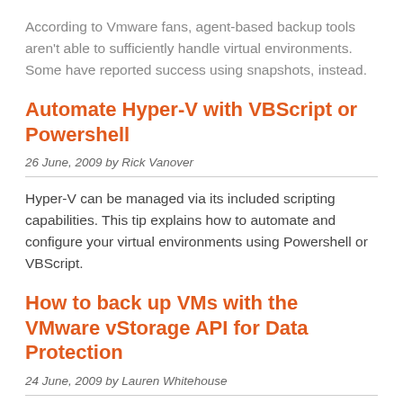According to Vmware fans, agent-based backup tools aren't able to sufficiently handle virtual environments. Some have reported success using snapshots, instead.
Automate Hyper-V with VBScript or Powershell
26 June, 2009 by Rick Vanover
Hyper-V can be managed via its included scripting capabilities. This tip explains how to automate and configure your virtual environments using Powershell or VBScript.
How to back up VMs with the VMware vStorage API for Data Protection
24 June, 2009 by Lauren Whitehouse
VMware's vStorage API for Data Protection can help you